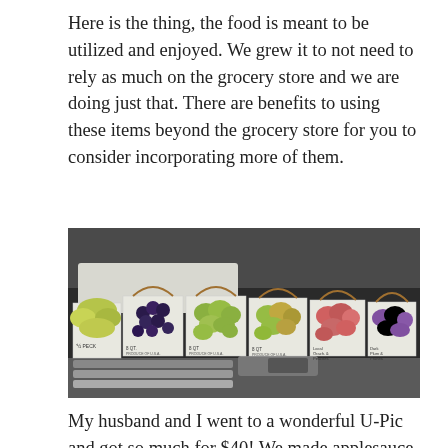Here is the thing, the food is meant to be utilized and enjoyed. We grew it to not need to rely as much on the grocery store and we are doing just that. There are benefits to using these items beyond the grocery store for you to consider incorporating more of them.
[Figure (photo): Photo of multiple baskets and boxes of fresh fruit — including dark grapes, green apples, red/pink apples, and pears — arranged in the trunk of a vehicle. Boxes are labeled with quantities like '8 QT' and '1/4 PECK'.]
My husband and I went to a wonderful U-Pic and got so much for $40! We made applesauce and concord grape jelly for our family to enjoy. Plus, we ate fresh fruit we